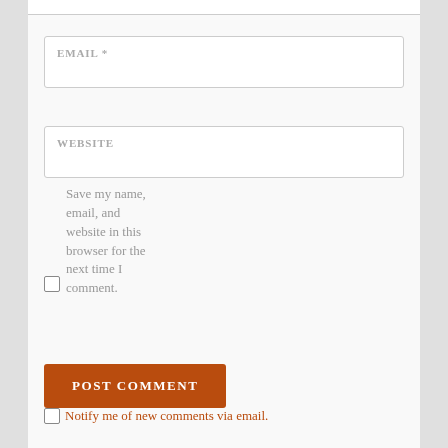EMAIL *
WEBSITE
Save my name, email, and website in this browser for the next time I comment.
POST COMMENT
Notify me of new comments via email.